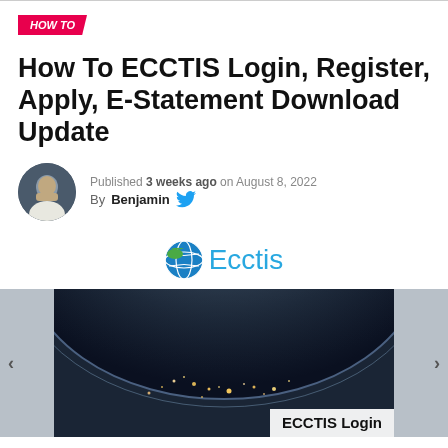HOW TO
How To ECCTIS Login, Register, Apply, E-Statement Download Update
Published 3 weeks ago on August 8, 2022
By Benjamin
[Figure (logo): Ecctis logo with globe icon and teal text reading 'Ecctis']
[Figure (photo): Earth from space at night showing city lights, with 'ECCTIS Login' caption overlay at bottom right]